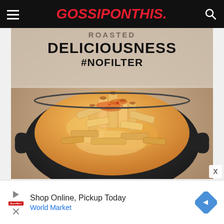GOSSIPONTHIS.
[Figure (photo): Food advertisement showing mac and cheese / penne pasta in a black cast iron skillet with orange cheese sauce and spices, with overlay text reading 'DELICIOUSNESS #NOFILTER']
Shop Online, Pickup Today
World Market